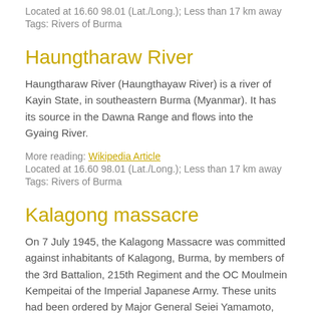Located at 16.60 98.01 (Lat./Long.); Less than 17 km away
Tags: Rivers of Burma
Haungtharaw River
Haungtharaw River (Haungthayaw River) is a river of Kayin State, in southeastern Burma (Myanmar). It has its source in the Dawna Range and flows into the Gyaing River.
More reading: Wikipedia Article
Located at 16.60 98.01 (Lat./Long.); Less than 17 km away
Tags: Rivers of Burma
Kalagong massacre
On 7 July 1945, the Kalagong Massacre was committed against inhabitants of Kalagong, Burma, by members of the 3rd Battalion, 215th Regiment and the OC Moulmein Kempeitai of the Imperial Japanese Army. These units had been ordered by Major General Seiei Yamamoto,